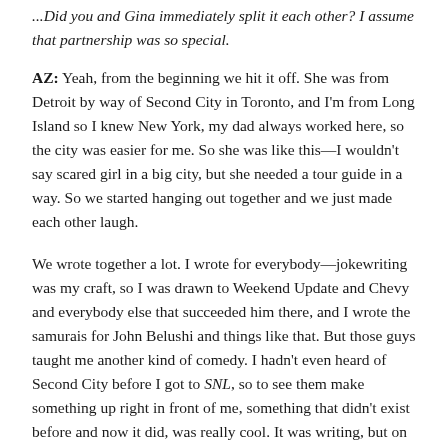...Did you and Gina immediately split it each other? I assume that partnership was so special.
AZ: Yeah, from the beginning we hit it off. She was from Detroit by way of Second City in Toronto, and I'm from Long Island so I knew New York, my dad always worked here, so the city was easier for me. So she was like this—I wouldn't say scared girl in a big city, but she needed a tour guide in a way. So we started hanging out together and we just made each other laugh.
We wrote together a lot. I wrote for everybody—jokewriting was my craft, so I was drawn to Weekend Update and Chevy and everybody else that succeeded him there, and I wrote the samurais for John Belushi and things like that. But those guys taught me another kind of comedy. I hadn't even heard of Second City before I got to SNL, so to see them make something up right in front of me, something that didn't exist before and now it did, was really cool. It was writing, but on your feet and acting it out all at the same time. I